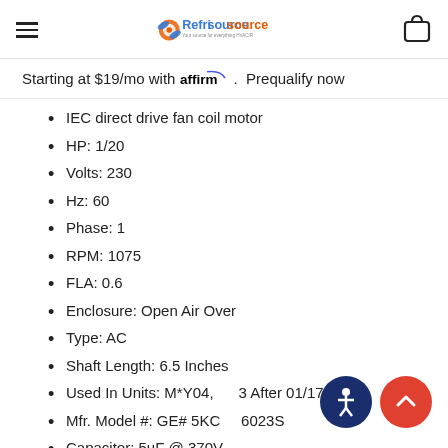Refrisource — Your source for everything HVAC/R
Starting at $19/mo with affirm. Prequalify now
IEC direct drive fan coil motor
HP: 1/20
Volts: 230
Hz: 60
Phase: 1
RPM: 1075
FLA: 0.6
Enclosure: Open Air Over
Type: AC
Shaft Length: 6.5 Inches
Used In Units: M*Y04, [obscured] After 01/17/2012
Mfr. Model #: GE# 5KC[obscured]6023S
Capacitor: 5uF @ 370V